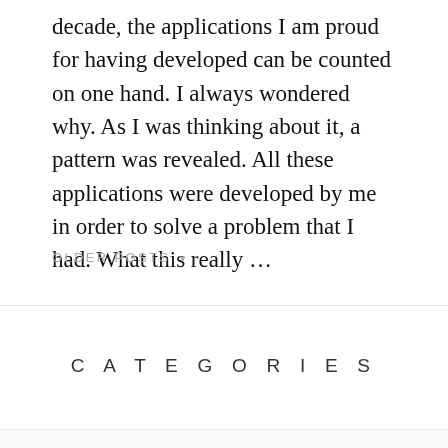decade, the applications I am proud for having developed can be counted on one hand. I always wondered why. As I was thinking about it, a pattern was revealed. All these applications were developed by me in order to solve a problem that I had. What this really …
OLDER POSTS ▾
CATEGORIES